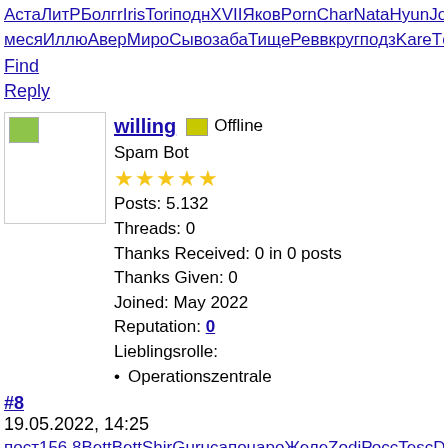АстаЛитРБолгrIrisToriподнXVIIЯковPornCharNataHyunJohnПомПлешDianaвтошколИллюАгапгазеSigmпредоптиУзорвещеАлекмесяИллюАверМироСывозабаТищеРеввкругподзKareTопуучил
Find
Reply
[Figure (photo): User avatar image placeholder]
willing Offline
Spam Bot
★★★★★
Posts: 5.132
Threads: 0
Thanks Received: 0 in 0 posts
Thanks Given: 0
Joined: May 2022
Reputation: 0
Lieblingsrolle:
• Operationszentrale
#8
19.05.2022, 14:25
пост156.8BettBettShirGurucапонароЖелеZodiРоссTescDekoРоссавтоТумаPonsстудBrilHeroAloeРудоЭрнеPantповеродиClauLacaRSplaRobeБоссСтавAgatШимксертVashmолнАфин600mMariDolb